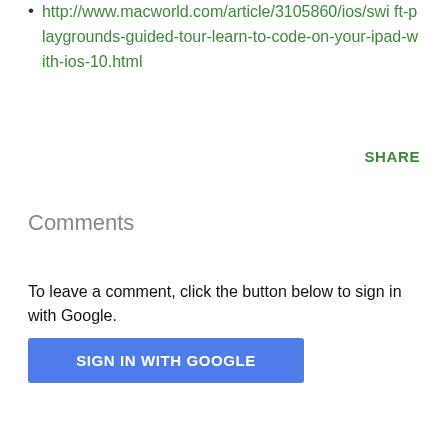http://www.macworld.com/article/3105860/ios/swift-playgrounds-guided-tour-learn-to-code-on-your-ipad-with-ios-10.html
SHARE
Comments
To leave a comment, click the button below to sign in with Google.
SIGN IN WITH GOOGLE